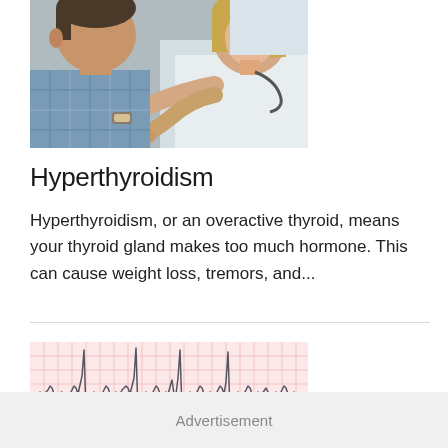[Figure (photo): A doctor (woman with blonde hair, stethoscope, white coat) examining a male patient's neck/thyroid area with both hands. Patient is wearing a plaid shirt and watch.]
Hyperthyroidism
Hyperthyroidism, or an overactive thyroid, means your thyroid gland makes too much hormone. This can cause weight loss, tremors, and...
[Figure (continuous-plot): ECG/EKG heart rhythm strip on pink grid paper showing multiple cardiac waveform cycles with characteristic QRS complexes and T-waves.]
Advertisement